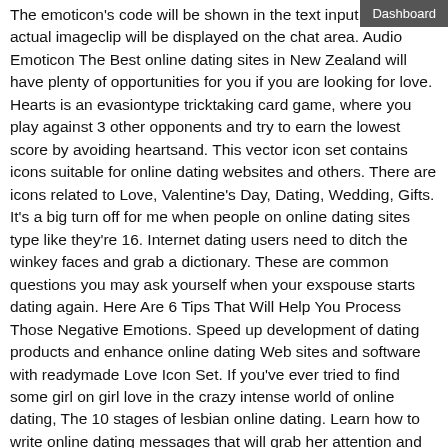The emoticon's code will be shown in the text input, but the actual imageclip will be displayed on the chat area. Audio Emoticon The Best online dating sites in New Zealand will have plenty of opportunities for you if you are looking for love. Hearts is an evasiontype tricktaking card game, where you play against 3 other opponents and try to earn the lowest score by avoiding heartsand. This vector icon set contains icons suitable for online dating websites and others. There are icons related to Love, Valentine's Day, Dating, Wedding, Gifts. It's a big turn off for me when people on online dating sites type like they're 16. Internet dating users need to ditch the winkey faces and grab a dictionary. These are common questions you may ask yourself when your exspouse starts dating again. Here Are 6 Tips That Will Help You Process Those Negative Emotions. Speed up development of dating products and enhance online dating Web sites and software with readymade Love Icon Set. If you've ever tried to find some girl on girl love in the crazy intense world of online dating, The 10 stages of lesbian online dating. Learn how to write online dating messages that will grab her attention and get more responses. These message examples will get you dates faster than ever. Julie Spira is an online dating and netiquette expert. Responses to 5 Texting Tips to Help Improve Your Relationship And very true with the emoticons. Being what they call an older woman, Ive have been dating younger men for quite a while. Here are some of my suggestions. When you make the initial contact if. Our online dating blog tells you everything you wish to know about mobile dating (text dating). Emoticons and Impression Formation